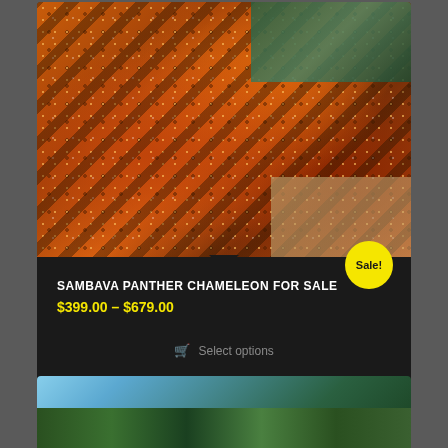[Figure (photo): Close-up photo of a Sambava Panther Chameleon showing vivid orange, red, teal and dark patterned scales with textured bumpy skin. Sandy/beige background visible at bottom right.]
SAMBAVA PANTHER CHAMELEON FOR SALE
$399.00 – $679.00
Sale!
Select options
[Figure (photo): Partial photo of another chameleon product with blue sky and green foliage visible.]